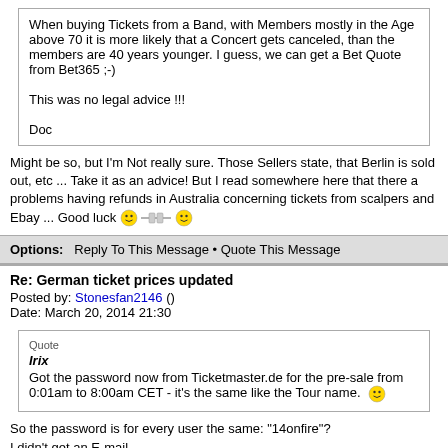When buying Tickets from a Band, with Members mostly in the Age above 70 it is more likely that a Concert gets canceled, than the members are 40 years younger. I guess, we can get a Bet Quote from Bet365 ;-)

This was no legal advice !!!

Doc
Might be so, but I'm Not really sure. Those Sellers state, that Berlin is sold out, etc ... Take it as an advice! But I read somewhere here that there a problems having refunds in Australia concerning tickets from scalpers and Ebay ... Good luck [smiley]
Options:  Reply To This Message • Quote This Message
Re: German ticket prices updated
Posted by: Stonesfan2146 ()
Date: March 20, 2014 21:30
Quote
Irix
Got the password now from Ticketmaster.de for the pre-sale from 0:01am to 8:00am CET - it's the same like the Tour name. [smiley]
So the password is for every user the same: "14onfire"?
I didn't get an E-mail...
Options:  Reply To This Message • Quote This Message
Re: German ticket prices updated